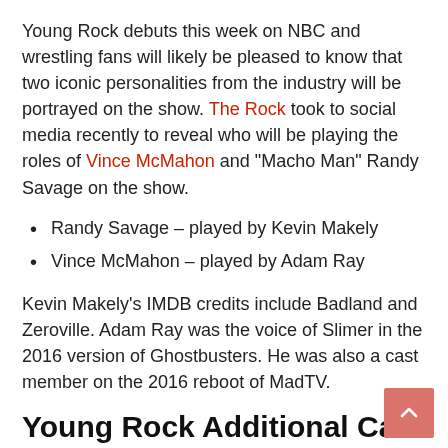Young Rock debuts this week on NBC and wrestling fans will likely be pleased to know that two iconic personalities from the industry will be portrayed on the show. The Rock took to social media recently to reveal who will be playing the roles of Vince McMahon and "Macho Man" Randy Savage on the show.
Randy Savage – played by Kevin Makely
Vince McMahon – played by Adam Ray
Kevin Makely's IMDB credits include Badland and Zeroville. Adam Ray was the voice of Slimer in the 2016 version of Ghostbusters. He was also a cast member on the 2016 reboot of MadTV.
Young Rock Additional Cast
More cast:
Joseph Lee Anderson – Rocky Johnson
Brett Azar – The Iron Sheik
Robert Crayton – Warren Sapp